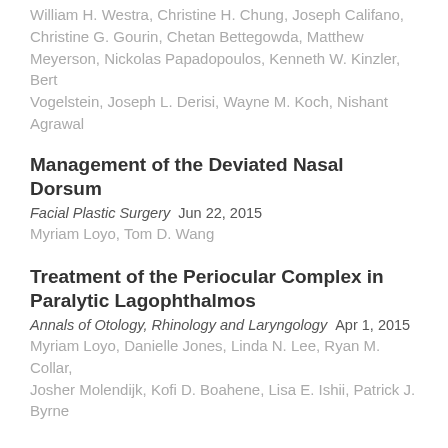William H. Westra, Christine H. Chung, Joseph Califano, Christine G. Gourin, Chetan Bettegowda, Matthew Meyerson, Nickolas Papadopoulos, Kenneth W. Kinzler, Bert Vogelstein, Joseph L. Derisi, Wayne M. Koch, Nishant Agrawal
Management of the Deviated Nasal Dorsum
Facial Plastic Surgery   Jun 22, 2015
Myriam Loyo,  Tom D. Wang
Treatment of the Periocular Complex in Paralytic Lagophthalmos
Annals of Otology, Rhinology and Laryngology   Apr 1, 2015
Myriam Loyo, Danielle Jones, Linda N. Lee, Ryan M. Collar, Josher Molendijk, Kofi D. Boahene, Lisa E. Ishii, Patrick J. Byrne